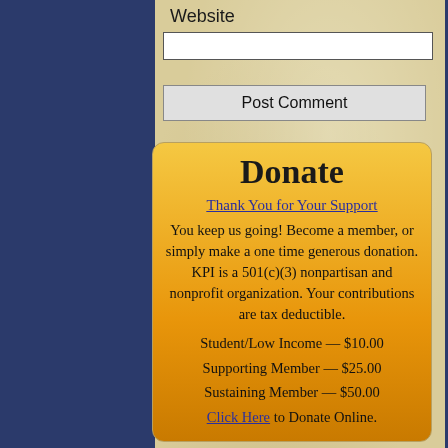Website
Post Comment
Donate
Thank You for Your Support
You keep us going!  Become a member, or simply make a one time generous donation.  KPI is a 501(c)(3) nonpartisan and nonprofit organization. Your contributions are tax deductible.
Student/Low Income — $10.00
Supporting Member — $25.00
Sustaining Member — $50.00
Click Here to Donate Online.